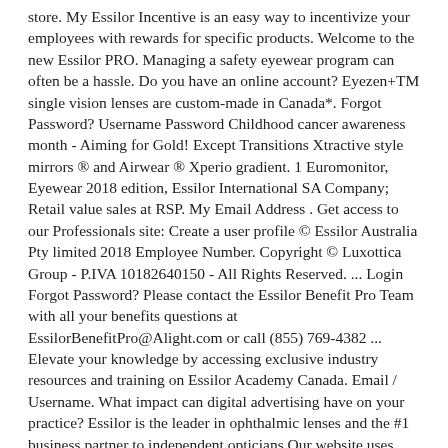store. My Essilor Incentive is an easy way to incentivize your employees with rewards for specific products. Welcome to the new Essilor PRO. Managing a safety eyewear program can often be a hassle. Do you have an online account? Eyezen+TM single vision lenses are custom-made in Canada*. Forgot Password? Username Password Childhood cancer awareness month - Aiming for Gold! Except Transitions Xtractive style mirrors ® and Airwear ® Xperio gradient. 1 Euromonitor, Eyewear 2018 edition, Essilor International SA Company; Retail value sales at RSP. My Email Address . Get access to our Professionals site: Create a user profile © Essilor Australia Pty limited 2018 Employee Number. Copyright © Luxottica Group - P.IVA 10182640150 - All Rights Reserved. ... Login Forgot Password? Please contact the Essilor Benefit Pro Team with all your benefits questions at EssilorBenefitPro@Alight.com or call (855) 769-4382 ... Elevate your knowledge by accessing exclusive industry resources and training on Essilor Academy Canada. Email / Username. What impact can digital advertising have on your practice? Essilor is the leader in ophthalmic lenses and the #1 business partner to independent opticians Our website uses cookies. * Varilux ® Series™ and Eyezen+TM lenses are surfaced